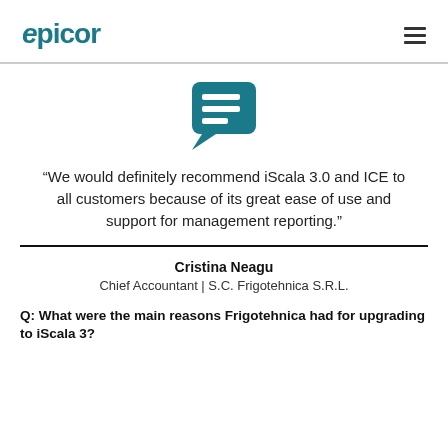epicor
[Figure (illustration): Teal speech bubble icon with three horizontal white lines representing text/messages inside]
“We would definitely recommend iScala 3.0 and ICE to all customers because of its great ease of use and support for management reporting.”
Cristina Neagu
Chief Accountant | S.C. Frigotehnica S.R.L.
Q: What were the main reasons Frigotehnica had for upgrading to iScala 3?